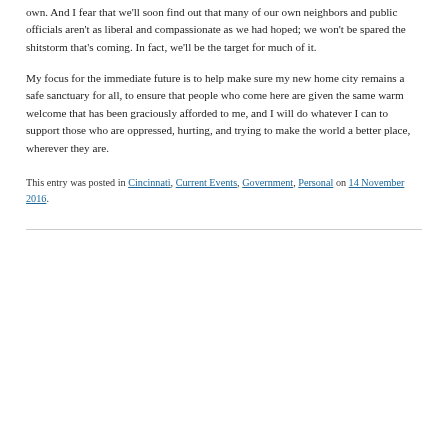own. And I fear that we'll soon find out that many of our own neighbors and public officials aren't as liberal and compassionate as we had hoped; we won't be spared the shitstorm that's coming. In fact, we'll be the target for much of it.
My focus for the immediate future is to help make sure my new home city remains a safe sanctuary for all, to ensure that people who come here are given the same warm welcome that has been graciously afforded to me, and I will do whatever I can to support those who are oppressed, hurting, and trying to make the world a better place, wherever they are.
This entry was posted in Cincinnati, Current Events, Government, Personal on 14 November 2016.